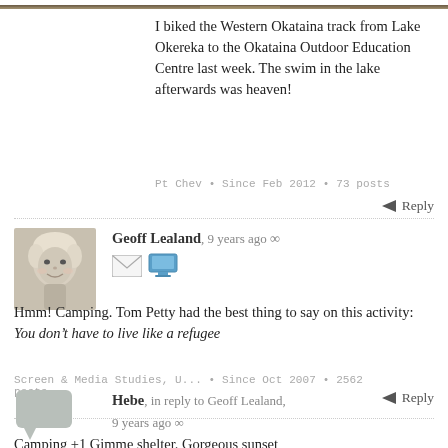[Figure (photo): Partial photo strip at top of page showing outdoor/nature scene]
I biked the Western Okataina track from Lake Okereka to the Okataina Outdoor Education Centre last week. The swim in the lake afterwards was heaven!
Pt Chev • Since Feb 2012 • 73 posts
Reply
[Figure (photo): Black and white avatar photo of Geoff Lealand as a child]
Geoff Lealand, 9 years ago ∞
Hmm! Camping. Tom Petty had the best thing to say on this activity: You don't have to live like a refugee
Screen & Media Studies, U... • Since Oct 2007 • 2562 posts
Reply
[Figure (illustration): Default grey speech bubble avatar for Hebe]
Hebe, in reply to Geoff Lealand, 9 years ago ∞
Camping +1 Gimme shelter. Gorgeous sunset